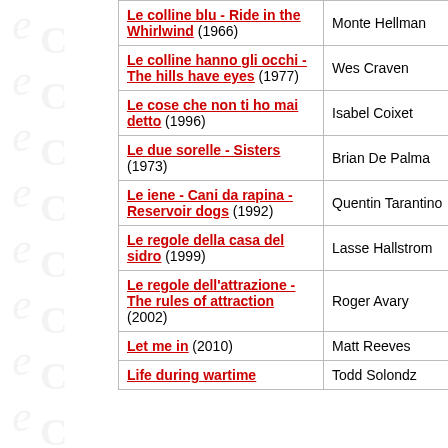| Film | Director |
| --- | --- |
| Le colline blu - Ride in the Whirlwind (1966) | Monte Hellman |
| Le colline hanno gli occhi - The hills have eyes (1977) | Wes Craven |
| Le cose che non ti ho mai detto (1996) | Isabel Coixet |
| Le due sorelle - Sisters (1973) | Brian De Palma |
| Le iene - Cani da rapina - Reservoir dogs (1992) | Quentin Tarantino |
| Le regole della casa del sidro (1999) | Lasse Hallstrom |
| Le regole dell'attrazione - The rules of attraction (2002) | Roger Avary |
| Let me in (2010) | Matt Reeves |
| Life during wartime | Todd Solondz |